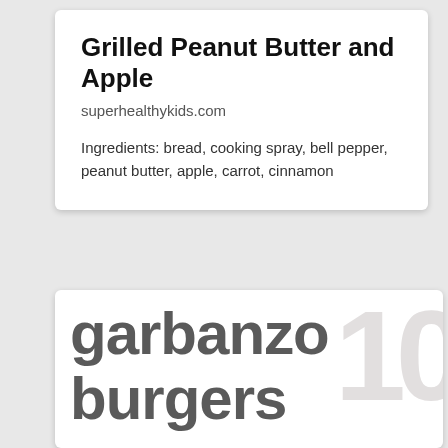Grilled Peanut Butter and Apple
superhealthykids.com
Ingredients: bread, cooking spray, bell pepper, peanut butter, apple, carrot, cinnamon
garbanzo burgers